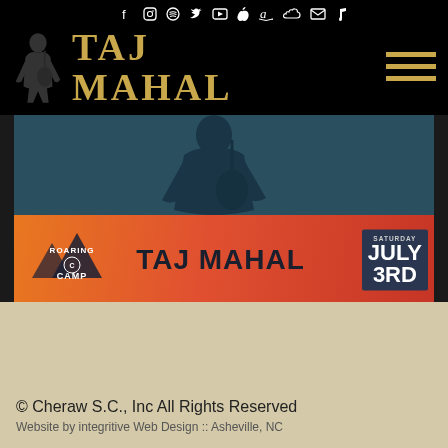TAJ MAHAL — social icons and navigation header
[Figure (screenshot): Roaring Camp event banner showing Taj Mahal performing on Saturday July 3rd, with dark teal photo above and orange/red banner strip below]
Taj to play Roaring Camp in Felton CA this July!
Posted Apr. 7, 2021
© Cheraw S.C., Inc All Rights Reserved
Website by integritive Web Design :: Asheville, NC